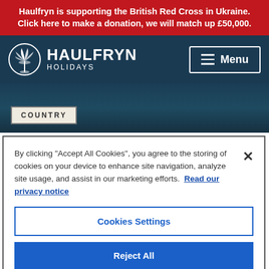Haulfryn is supporting the British Red Cross in Ukraine. Click here to make a donation, we will match up £50,000.
[Figure (logo): Haulfryn Holidays logo with palm tree icon and white text on navy background, with Menu button]
[Figure (photo): Dark teal/navy hero banner image with COUNTRY badge overlay]
By clicking "Accept All Cookies", you agree to the storing of cookies on your device to enhance site navigation, analyze site usage, and assist in our marketing efforts. Read our privacy notice
Cookies Settings
Reject All